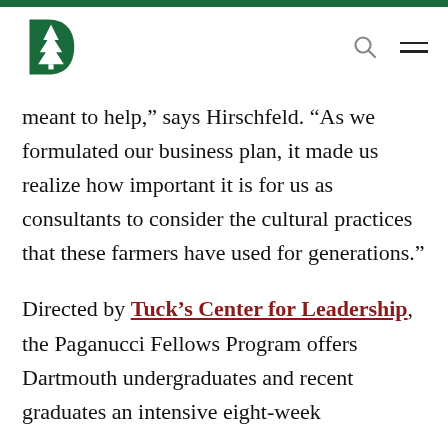Dartmouth logo navigation header
meant to help,” says Hirschfeld. “As we formulated our business plan, it made us realize how important it is for us as consultants to consider the cultural practices that these farmers have used for generations.”
Directed by Tuck’s Center for Leadership, the Paganucci Fellows Program offers Dartmouth undergraduates and recent graduates an intensive eight-week